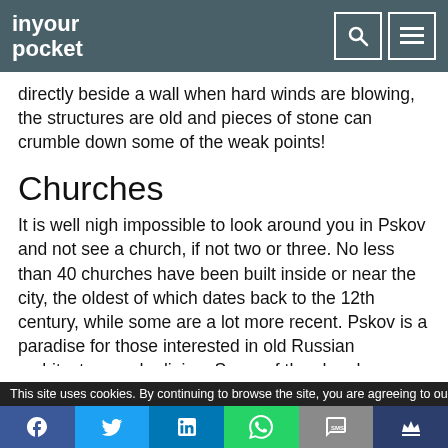in your pocket
directly beside a wall when hard winds are blowing, the structures are old and pieces of stone can crumble down some of the weak points!
Churches
It is well nigh impossible to look around you in Pskov and not see a church, if not two or three. No less than 40 churches have been built inside or near the city, the oldest of which dates back to the 12th century, while some are a lot more recent. Pskov is a paradise for those interested in old Russian architecture and religion. Some of the churches are no longer in use and are in a somewhat derelict state, but most are still
This site uses cookies. By continuing to browse the site, you are agreeing to our use